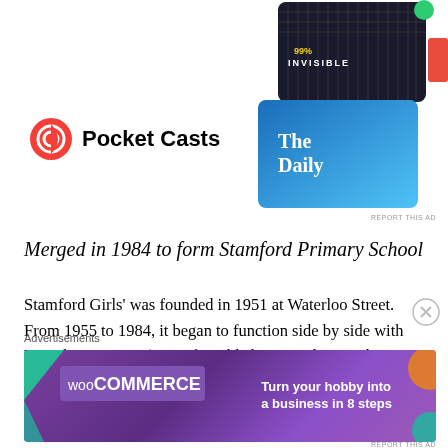[Figure (logo): Pocket Casts logo with orange circular icon and bold text 'Pocket Casts']
[Figure (screenshot): Top-right corner showing podcast app cards: '99% Invisible' dark card and 'The Daily' blue card]
Merged in 1984 to form Stamford Primary School
Stamford Girls' was founded in 1951 at Waterloo Street. From 1955 to 1984, it began to function side by side with Waterloo Primary (year of establishment unknown, but it was definitely in the early 50s). The school underwent several name changes, from the original Stamford Girls' School to Stamford Girls' Afternoon School (when Raffles Girls' Afternoon, its affiliated school, moved to the
Advertisements
[Figure (illustration): WooCommerce advertisement banner: 'Turn your hobby into a business in 8 steps' on purple background with geometric shapes]